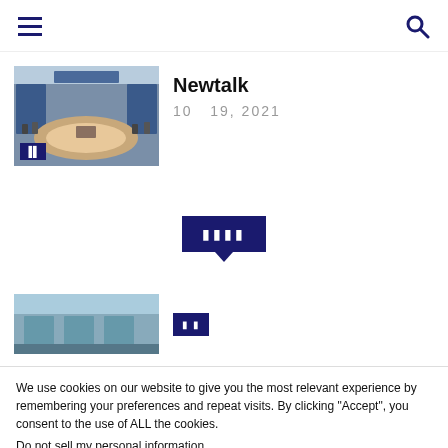Navigation header with hamburger menu and search icon
[Figure (photo): Council chamber with circular table and blue screens, UN/NATO style meeting room]
Newtalk
10   19, 2021
[Figure (other): Pagination bubble with dark navy background showing dots/characters, with downward arrow pointer]
[Figure (photo): Partial second article thumbnail showing a blue-tinted building exterior]
We use cookies on our website to give you the most relevant experience by remembering your preferences and repeat visits. By clicking “Accept”, you consent to the use of ALL the cookies.
Do not sell my personal information.
Cookie settings
ACCEPT